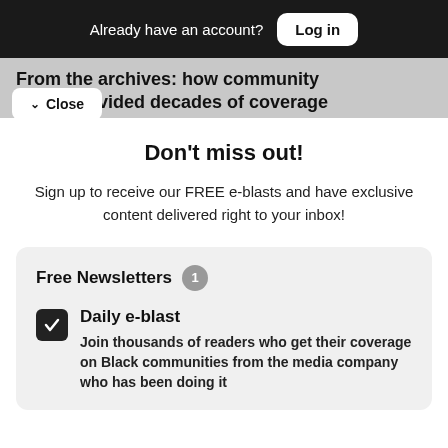Already have an account? Log in
From the archives: how community nings provided decades of coverage
Close
Don't miss out!
Sign up to receive our FREE e-blasts and have exclusive content delivered right to your inbox!
Free Newsletters 1
Daily e-blast
Join thousands of readers who get their coverage on Black communities from the media company who has been doing it